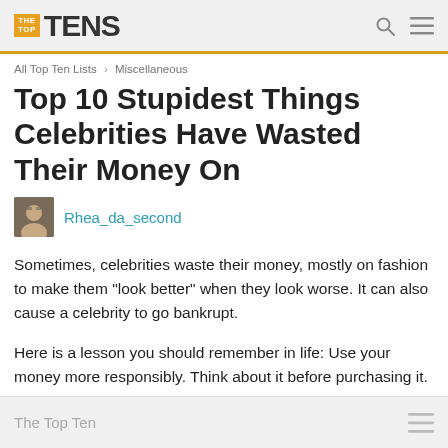THE TOP TENS
All Top Ten Lists › Miscellaneous
Top 10 Stupidest Things Celebrities Have Wasted Their Money On
Rhea_da_second
Sometimes, celebrities waste their money, mostly on fashion to make them "look better" when they look worse. It can also cause a celebrity to go bankrupt.

Here is a lesson you should remember in life: Use your money more responsibly. Think about it before purchasing it.
The Top Ten